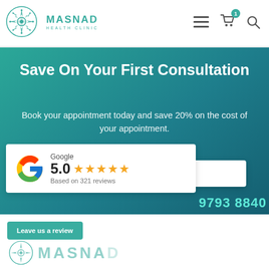MASNAD HEALTH CLINIC
Save On Your First Consultation
Book your appointment today and save 20% on the cost of your appointment.
Book Appointment Online
Google 5.0 ★★★★★ Based on 321 reviews
9793 8840
Leave us a review